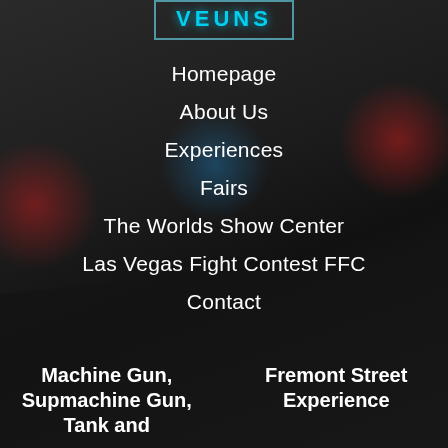[Figure (logo): VEUNS logo text in cyan/teal neon style inside a rectangular border]
Homepage
About Us
Experiences
Fairs
The Worlds Show Center
Las Vegas Fight Contest FFC
Contact
Machine Gun, Supmachine Gun, Tank and
Fremont Street Experience